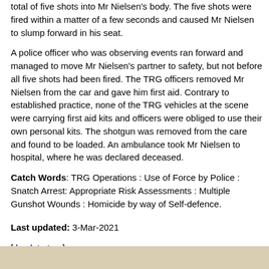total of five shots into Mr Nielsen's body. The five shots were fired within a matter of a few seconds and caused Mr Nielsen to slump forward in his seat.
A police officer who was observing events ran forward and managed to move Mr Nielsen's partner to safety, but not before all five shots had been fired. The TRG officers removed Mr Nielsen from the car and gave him first aid. Contrary to established practice, none of the TRG vehicles at the scene were carrying first aid kits and officers were obliged to use their own personal kits. The shotgun was removed from the care and found to be loaded. An ambulance took Mr Nielsen to hospital, where he was declared deceased.
Catch Words: TRG Operations : Use of Force by Police : Snatch Arrest: Appropriate Risk Assessments : Multiple Gunshot Wounds : Homicide by way of Self-defence.
Last updated: 3-Mar-2021
[ back to top ]
[Figure (other): Beige/tan footer bar at the bottom of the page]